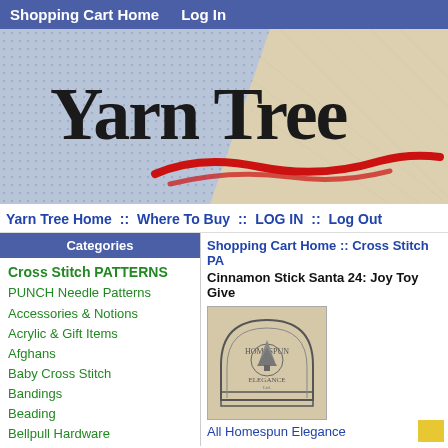Shopping Cart Home  Log In
[Figure (illustration): Yarn Tree banner with fabric texture background and red swoosh accent]
Yarn Tree
Yarn Tree Home ::  Where To Buy ::  LOG IN ::  Log Out
Categories
Cross Stitch PATTERNS
PUNCH Needle Patterns
Accessories & Notions
Acrylic & Gift Items
Afghans
Baby Cross Stitch
Bandings
Beading
Bellpull Hardware
Cards & Stationery
Shopping Cart Home ::  Cross Stitch PA
Cinnamon Stick Santa 24: Joy Toy Give
[Figure (logo): Homespun Elegance logo — arch-shaped border with tree motif]
All Homespun Elegance